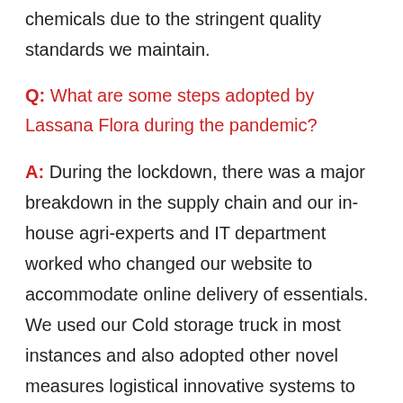chemicals due to the stringent quality standards we maintain.
Q: What are some steps adopted by Lassana Flora during the pandemic?
A: During the lockdown, there was a major breakdown in the supply chain and our in-house agri-experts and IT department worked who changed our website to accommodate online delivery of essentials. We used our Cold storage truck in most instances and also adopted other novel measures logistical innovative systems to deliver essentials. We also cleared our cool room facilities and started utilising them for storage, sorting, and packing of essentials. Furthermore, among other steps,